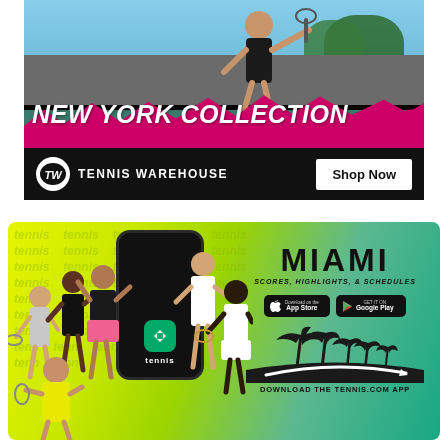[Figure (photo): Tennis Warehouse New York Collection advertisement. Top section shows a female tennis player on a court with a pink/magenta wavy blob shape overlaid. Bold italic white text reads NEW YORK COLLECTION. Bottom bar has Tennis Warehouse logo with TW badge and a Shop Now button on white background.]
[Figure (photo): Tennis.com app advertisement with yellow-green gradient background showing tennis watermark text. Multiple professional tennis players posed around a smartphone. Right side shows MIAMI in large bold text, SCORES, HIGHLIGHTS, & SCHEDULES below it, App Store and Google Play badges, palm tree silhouette scene, and DOWNLOAD THE TENNIS.COM APP text.]